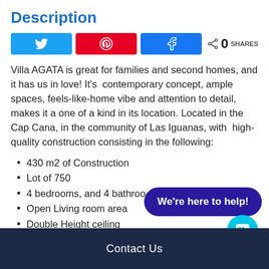Description
[Figure (infographic): Social share buttons: Twitter (blue), Pinterest (red), Facebook (blue), and share count showing 0 SHARES]
Villa AGATA is great for families and second homes, and it has us in love! It's  contemporary concept, ample spaces, feels-like-home vibe and attention to detail, makes it a one of a kind in its location. Located in the Cap Cana, in the community of Las Iguanas, with  high-quality construction consisting in the following:
430 m2 of Construction
Lot of 750
4 bedrooms, and 4 bathrooms
Open Living room area
Double Height ceiling
[Figure (infographic): Dark blue rounded button with text 'We're here to help!' and cyan chat icon circle below it]
Contact Us